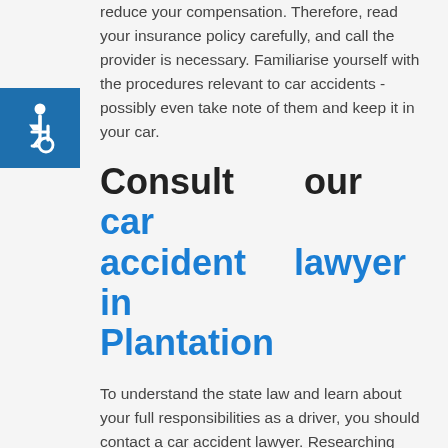[Figure (illustration): Accessibility wheelchair icon, white symbol on blue square background]
reduce your compensation. Therefore, read your insurance policy carefully, and call the provider is necessary. Familiarise yourself with the procedures relevant to car accidents - possibly even take note of them and keep it in your car.
Consult our car accident lawyer in Plantation
To understand the state law and learn about your full responsibilities as a driver, you should contact a car accident lawyer. Researching these things on your own will be incredibly time consuming and possibly